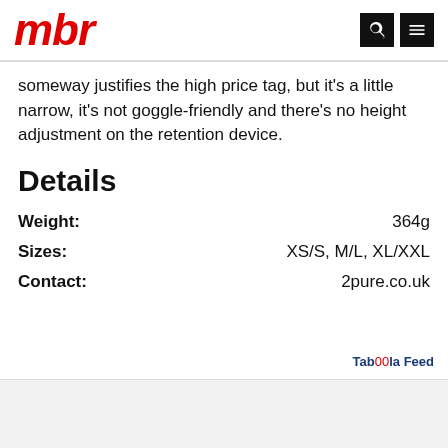mbr
someway justifies the high price tag, but it's a little narrow, it's not goggle-friendly and there's no height adjustment on the retention device.
Details
|  |  |
| --- | --- |
| Weight: | 364g |
| Sizes: | XS/S, M/L, XL/XXL |
| Contact: | 2pure.co.uk |
Taboola Feed